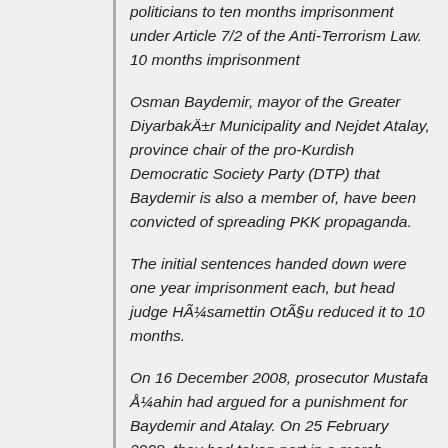politicians to ten months imprisonment under Article 7/2 of the Anti-Terrorism Law. 10 months imprisonment
Osman Baydemir, mayor of the Greater Diyarbakır Municipality and Nejdet Atalay, province chair of the pro-Kurdish Democratic Society Party (DTP) that Baydemir is also a member of, have been convicted of spreading PKK propaganda.
The initial sentences handed down were one year imprisonment each, but head judge Hüsamettin Otüşu reduced it to 10 months.
On 16 December 2008, prosecutor Mustafa Şahin had argued for a punishment for Baydemir and Atalay. On 25 February 2008, they had taken part in a march organised in protest